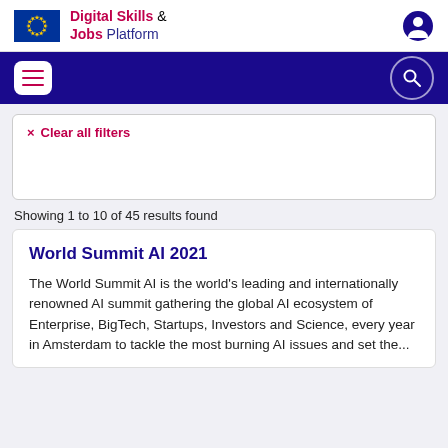Digital Skills & Jobs Platform
Clear all filters
Showing 1 to 10 of 45 results found
World Summit AI 2021
The World Summit AI is the world's leading and internationally renowned AI summit gathering the global AI ecosystem of Enterprise, BigTech, Startups, Investors and Science, every year in Amsterdam to tackle the most burning AI issues and set the...